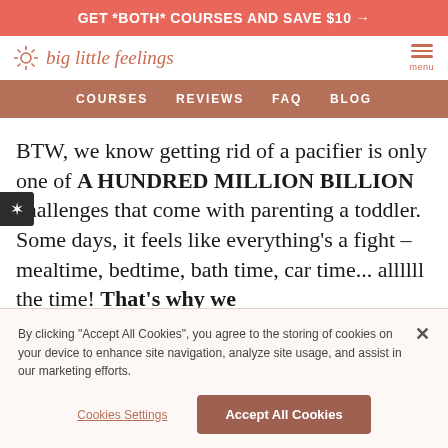GET *BOTH* COURSES AND SAVE $10 →
[Figure (logo): Big Little Feelings logo with sun/star icon and italic text]
COURSES   REVIEWS   FAQ   BLOG
BTW, we know getting rid of a pacifier is only one of A HUNDRED MILLION BILLION challenges that come with parenting a toddler. Some days, it feels like everything's a fight – mealtime, bedtime, bath time, car time... allllll the time! That's why we
By clicking "Accept All Cookies", you agree to the storing of cookies on your device to enhance site navigation, analyze site usage, and assist in our marketing efforts.
Cookies Settings
Accept All Cookies